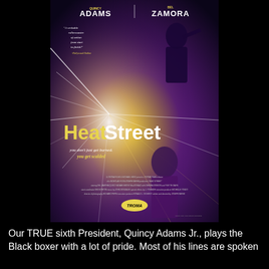[Figure (photo): Movie poster for 'Heat Street' featuring actor names QUINCY ADAMS and BEL ZAMORA at the top, a night-city action background with light streaks, two figures with guns, the film title 'HeatStreet', tagline 'you don't just get burned. you get scalded', and small production credits at the bottom with a Troma logo.]
Our TRUE sixth President, Quincy Adams Jr., plays the Black boxer with a lot of pride. Most of his lines are spoken